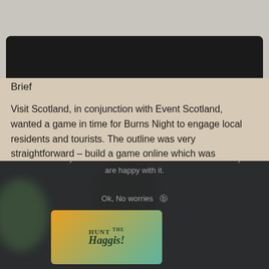[Figure (screenshot): Screenshot of a tablet device showing a website with a beige/tan background card]
Brief
Visit Scotland, in conjunction with Event Scotland, wanted a game in time for Burns Night to engage local residents and tourists. The outline was very straightforward – build a game online which was accessible to all online users and ensure that it could be played on multiple devices to boost engagement.
[Figure (screenshot): Dark photograph showing a game called 'Hunt the Haggis' on a device screen, with a cookie consent overlay message reading: We use cookies to ensure that we give you the best experience on our website. If you continue to use this site we will assume that you are happy with it.]